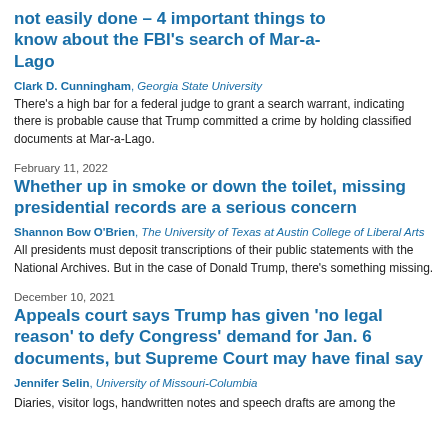not easily done – 4 important things to know about the FBI's search of Mar-a-Lago
Clark D. Cunningham, Georgia State University
There's a high bar for a federal judge to grant a search warrant, indicating there is probable cause that Trump committed a crime by holding classified documents at Mar-a-Lago.
February 11, 2022
Whether up in smoke or down the toilet, missing presidential records are a serious concern
Shannon Bow O'Brien, The University of Texas at Austin College of Liberal Arts
All presidents must deposit transcriptions of their public statements with the National Archives. But in the case of Donald Trump, there's something missing.
December 10, 2021
Appeals court says Trump has given 'no legal reason' to defy Congress' demand for Jan. 6 documents, but Supreme Court may have final say
Jennifer Selin, University of Missouri-Columbia
Diaries, visitor logs, handwritten notes and speech drafts are among the